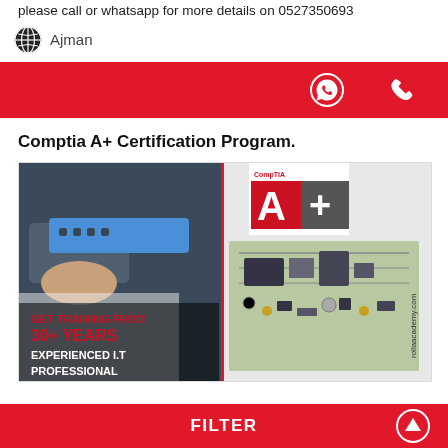please call or whatsapp for more details on 0527350693
Ajman
[Figure (screenshot): Red action bar with WhatsApp and phone call icons]
Comptia A+ Certification Program.
[Figure (photo): Advertisement image for Comptia A+ Certification from Rolla Academy. Shows a person working with networking equipment on the left, CompTIA A+ logo (red A+ on white/grey background) in upper center, circuit board components on the right, and text: GET TRAINING FROM 30+ YEARS EXPERIENCED I.T PROFESSIONAL. rollaacademy.com watermark on right side.]
FILTER